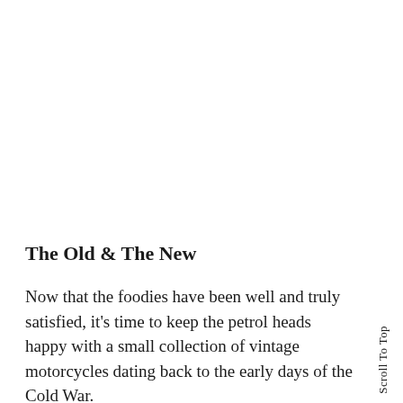The Old & The New
Now that the foodies have been well and truly satisfied, it's time to keep the petrol heads happy with a small collection of vintage motorcycles dating back to the early days of the Cold War.
Scroll To Top